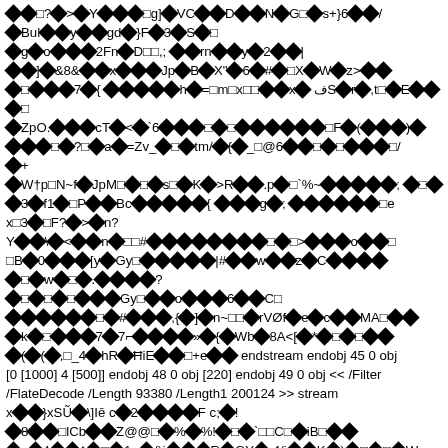Binary/corrupted PDF stream data with diamond replacement characters interspersed with readable ASCII text fragments including: endstream endobj 45 0 obj [0 [1000] 4 [500]] endobj 48 0 obj [220] endobj 49 0 obj << /Filter /FlateDecode /Length 93380 /Length1 200124 >> stream and various encoded characters.